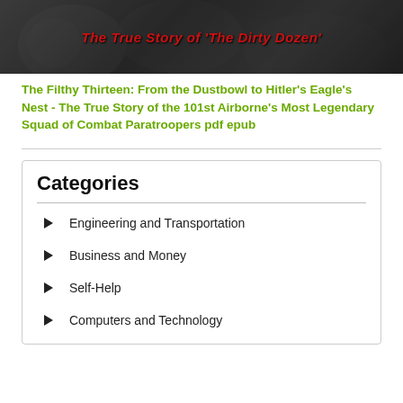[Figure (photo): Black and white image of soldiers with red italic bold overlay text reading: The True Story of 'The Dirty Dozen']
The Filthy Thirteen: From the Dustbowl to Hitler's Eagle's Nest - The True Story of the 101st Airborne's Most Legendary Squad of Combat Paratroopers pdf epub
Categories
Engineering and Transportation
Business and Money
Self-Help
Computers and Technology